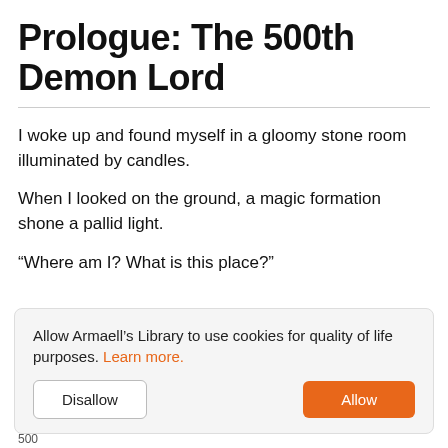Prologue: The 500th Demon Lord
I woke up and found myself in a gloomy stone room illuminated by candles.
When I looked on the ground, a magic formation shone a pallid light.
“Where am I? What is this place?”
Allow Armaell’s Library to use cookies for quality of life purposes. Learn more.
500